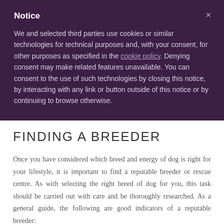Notice
We and selected third parties use cookies or similar technologies for technical purposes and, with your consent, for other purposes as specified in the cookie policy. Denying consent may make related features unavailable. You can consent to the use of such technologies by closing this notice, by interacting with any link or button outside of this notice or by continuing to browse otherwise.
FINDING A BREEDER
Once you have considered which breed and energy of dog is right for your lifestyle, it is important to find a reputable breeder or rescue centre. As with selecting the right breed of dog for you, this task should be carried out with care and be thoroughly researched. As a general guide, the following are good indicators of a reputable breeder: